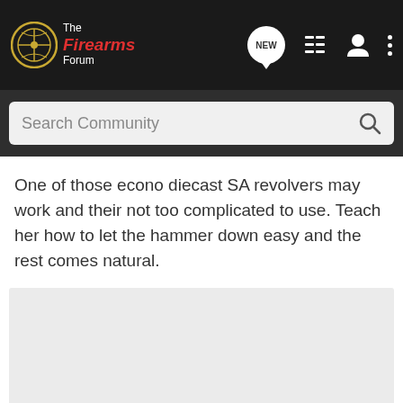The Firearms Forum
One of those econo diecast SA revolvers may work and their not too complicated to use. Teach her how to let the hammer down easy and the rest comes natural.
[Figure (photo): Light gray image placeholder area]